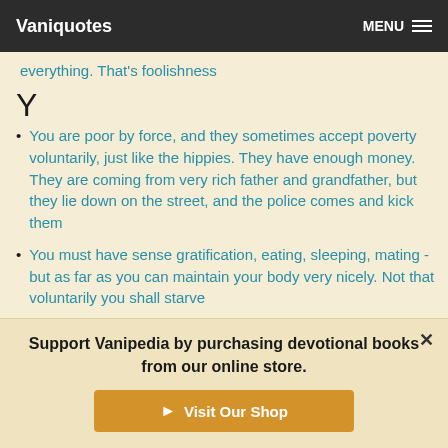Vaniquotes  MENU
everything. That's foolishness
Y
You are poor by force, and they sometimes accept poverty voluntarily, just like the hippies. They have enough money. They are coming from very rich father and grandfather, but they lie down on the street, and the police comes and kick them
You must have sense gratification, eating, sleeping, mating - but as far as you can maintain your body very nicely. Not that voluntarily you shall starve
Support Vanipedia by purchasing devotional books from our online store.
Visit Our Shop